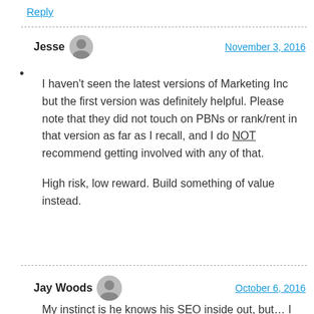Reply
Jesse   November 3, 2016
I haven't seen the latest versions of Marketing Inc but the first version was definitely helpful. Please note that they did not touch on PBNs or rank/rent in that version as far as I recall, and I do NOT recommend getting involved with any of that.

High risk, low reward. Build something of value instead.
Jay Woods   October 6, 2016
My instinct is he knows his SEO inside out, but… I don't